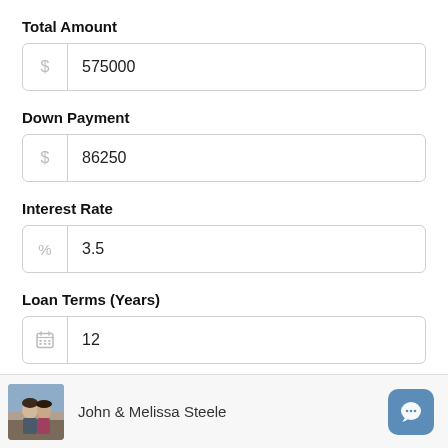Total Amount
$ 575000
Down Payment
$ 86250
Interest Rate
% 3.5
Loan Terms (Years)
12
Property Tax
John & Melissa Steele